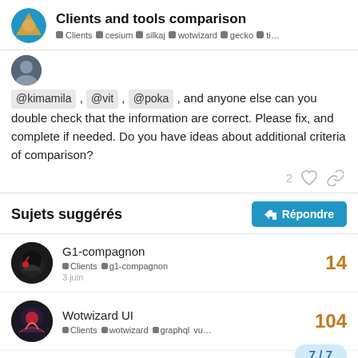Clients and tools comparison — Clients, cesium, silkaj, wotwizard, gecko, ti…
@kimamila , @vit , @poka , and anyone else can you double check that the information are correct. Please fix, and complete if needed. Do you have ideas about additional criteria of comparison?
Sujets suggérés
G1-compagnon — Clients, g1-compagnon — 14 — 3 juin
Wotwizard UI — Clients, wotwizard, graphql, vu… — 104
Durt: Lib Duniter en dart
7 / 7